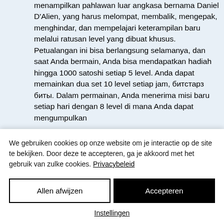menampilkan pahlawan luar angkasa bernama Daniel D'Alien, yang harus melompat, membalik, mengepak, menghindar, dan mempelajari keterampilan baru melalui ratusan level yang dibuat khusus. Petualangan ini bisa berlangsung selamanya, dan saat Anda bermain, Anda bisa mendapatkan hadiah hingga 1000 satoshi setiap 5 level. Anda dapat memainkan dua set 10 level setiap jam, битстарз биты. Dalam permainan, Anda menerima misi baru setiap hari dengan 8 level di mana Anda dapat mengumpulkan
We gebruiken cookies op onze website om je interactie op de site te bekijken. Door deze te accepteren, ga je akkoord met het gebruik van zulke cookies. Privacybeleid
Allen afwijzen
Accepteren
Instellingen